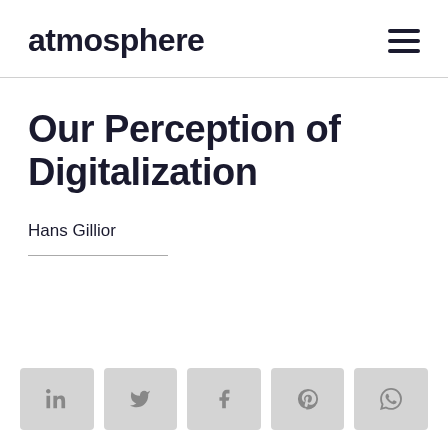atmosphere
Our Perception of Digitalization
Hans Gillior
[Figure (infographic): Social sharing buttons row: LinkedIn, Twitter, Facebook, Pinterest, WhatsApp]